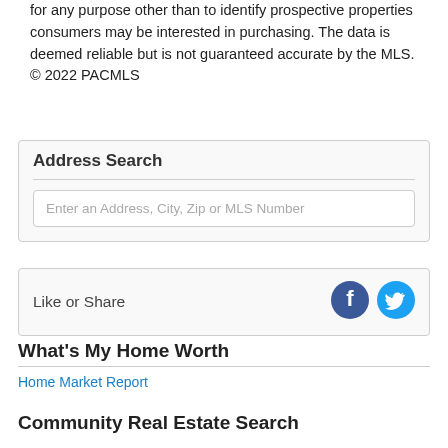for any purpose other than to identify prospective properties consumers may be interested in purchasing. The data is deemed reliable but is not guaranteed accurate by the MLS. © 2022 PACMLS
Address Search
Enter an Address, City, Zip or MLS Number
Like or Share
What's My Home Worth
Home Market Report
Community Real Estate Search